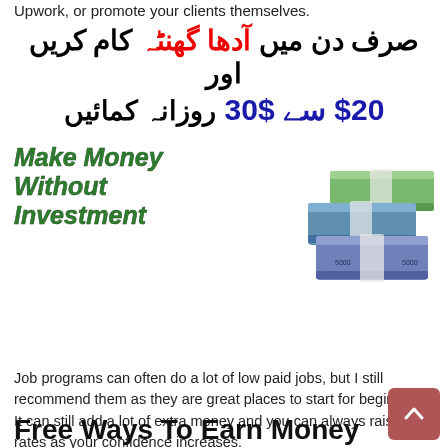Upwork, or promote your clients themselves.
[Figure (infographic): Urdu text advertisement: 'Sirf din mein aadha ghanta kaam karein aur $20 se $30 rozana kamaein' (Work just half an hour a day and earn $20 to $30 daily). Green bold italic text 'Make Money Without Investment' with stacked currency notes image.]
Job programs can often do a lot of low paid jobs, but I still recommend them as they are great places to start for beginners. It can still add a lot of extra money and you can always raise your rates as your confidence increases.
Free Ways To Earn Money